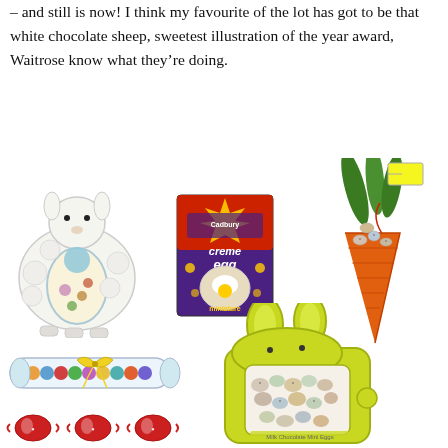– and still is now! I think my favourite of the lot has got to be that white chocolate sheep, sweetest illustration of the year award, Waitrose know what they're doing.
[Figure (photo): Collection of Easter chocolate products: white chocolate sheep (Waitrose), Cadbury Creme Egg box, decorative carrot with bunny ears filled with mini eggs, tube of mini eggs with yellow bow, wrapped chocolate mini eggs, and yellow bunny-shaped box filled with mini chocolate eggs.]